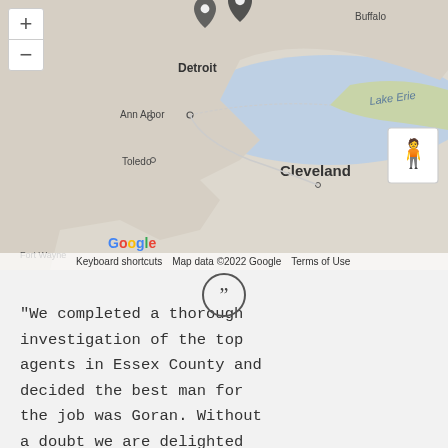[Figure (map): Google Maps screenshot showing the Detroit, Ann Arbor, Toledo, Cleveland area near Lake Erie with two map pin markers near Detroit and a street view person icon. Shows Fort Wayne in lower left. Map data ©2022 Google.]
[Figure (other): Quotation mark icon (double closing quotes) inside a circle, used as a testimonial section header.]
"We completed a thorough investigation of the top agents in Essex County and decided the best man for the job was Goran. Without a doubt we are delighted with the level of service we received with Team Goran. Our homes were advertised differently it...